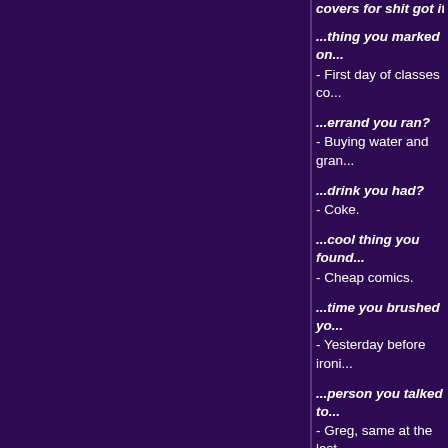covers for shit got it suc...
...thing you marked on
- First day of classes co...
...errand you ran?
- Buying water and gran...
...drink you had?
- Coke.
...cool thing you found
- Cheap comics.
...time you brushed yo...
- Yesterday before ironi...
...person you talked to...
- Greg, same at the last... system since.
...thing you bought?
- A shitload of comics a...
...game you played?
- The Scott Pilgrim dem...
...new place you visite...
- Cici's pizza in San Die...
...thin... ...t...